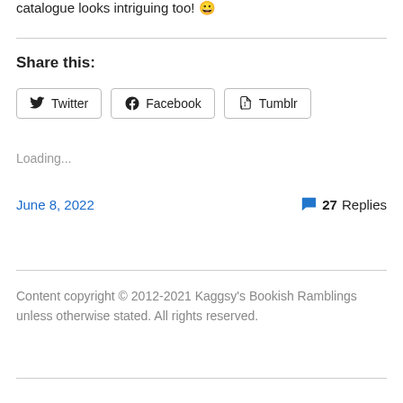catalogue looks intriguing too! 😀
Share this:
Twitter  Facebook  Tumblr
Loading...
June 8, 2022
27 Replies
Content copyright © 2012-2021 Kaggsy's Bookish Ramblings unless otherwise stated. All rights reserved.